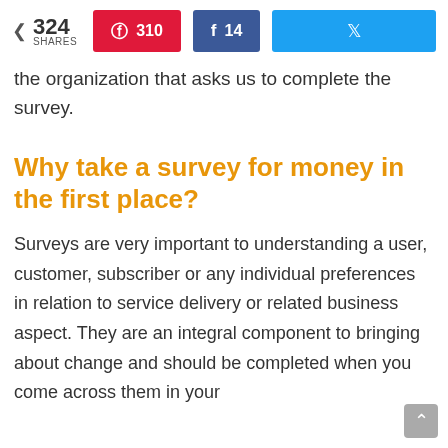324 SHARES | 310 | 14
the organization that asks us to complete the survey.
Why take a survey for money in the first place?
Surveys are very important to understanding a user, customer, subscriber or any individual preferences in relation to service delivery or related business aspect. They are an integral component to bringing about change and should be completed when you come across them in your